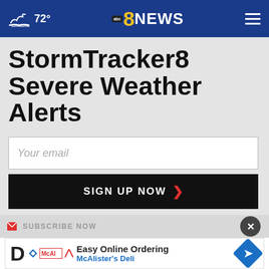72° abc 8 NEWS
StormTracker8 Severe Weather Alerts
Your email
SIGN UP NOW
SUBSCRIBE NOW
Easy Online Ordering McAlister's Deli